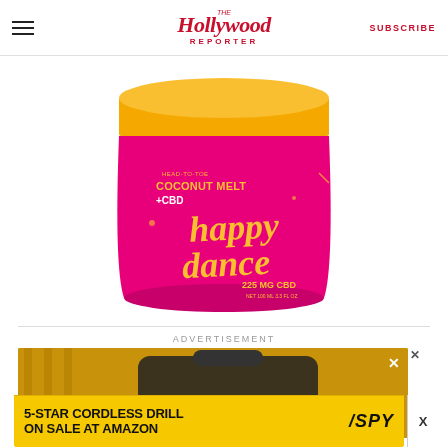The Hollywood Reporter | SUBSCRIBE
[Figure (photo): Pink and yellow jar of Happy Dance Head-to-Toe Coconut Melt + CBD, 225 MG CBD, displayed against white background]
ADVERTISEMENT
[Figure (photo): Advertisement banner showing a DeWalt tool bag on gold background]
[Figure (photo): Bottom ad bar: '5-STAR CORDLESS DRILL ON SALE AT AMAZON' with SPY logo on yellow background]